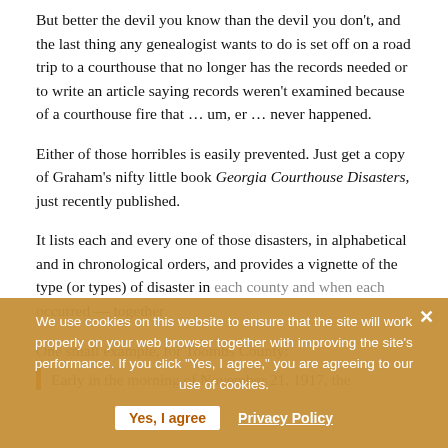But better the devil you know than the devil you don't, and the last thing any genealogist wants to do is set off on a road trip to a courthouse that no longer has the records needed or to write an article saying records weren't examined because of a courthouse fire that … um, er … never happened.
Either of those horribles is easily prevented. Just get a copy of Graham's nifty little book Georgia Courthouse Disasters, just recently published.
It lists each and every one of those disasters, in alphabetical and in chronological orders, and provides a vignette of the type (or types) of disaster in each county and when each occurred — together
We use cookies on this website to ensure that the site will work properly on your web browser together with improving the site's performance. If you click "Yes, I agree," you are agreeing to our use of cookies.
Yes, I agree
Privacy Policy
One small example, for Toombs County:
Early in the morning of November 21, 1917, the